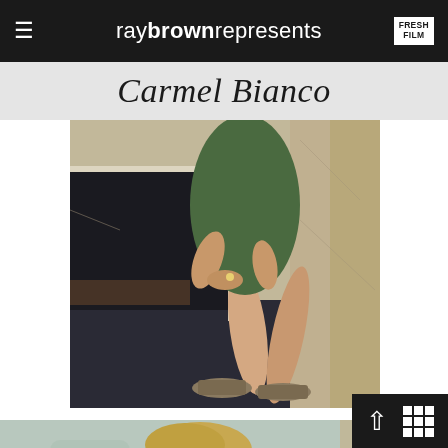≡  raybrownrepresents  FRESH FILM
Carmel Bianco
[Figure (photo): Fashion photo of a woman in a green dress seated on a marble ledge, wearing woven flat shoes, in an ornate interior setting]
[Figure (photo): Close-up portrait of a young blonde woman in a white blazer, gazing directly at camera, with a stone/marble column in background]